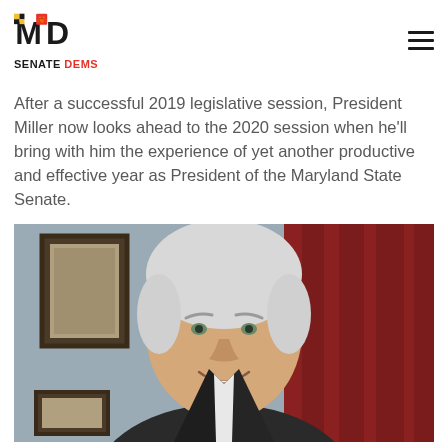MD Senate Dems
After a successful 2019 legislative session, President Miller now looks ahead to the 2020 session when he'll bring with him the experience of yet another productive and effective year as President of the Maryland State Senate.
[Figure (photo): Portrait photo of President Miller, a middle-aged man with grey hair, smiling, wearing a suit and red tie, with framed pictures and a red curtain in the background.]